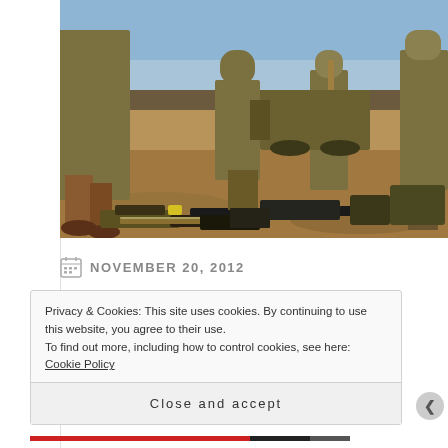[Figure (photo): Soldiers in military uniforms with equipment and weapons on sandy ground, preparing gear outdoors.]
NOVEMBER 20, 2012
Privacy & Cookies: This site uses cookies. By continuing to use this website, you agree to their use.
To find out more, including how to control cookies, see here: Cookie Policy
Close and accept